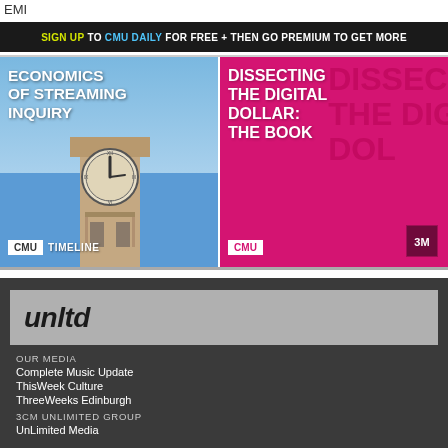EMI
SIGN UP TO CMU DAILY FOR FREE + THEN GO PREMIUM TO GET MORE
[Figure (illustration): Economics of Streaming Inquiry promo image with Big Ben clock tower and CMU Timeline badge]
[Figure (illustration): Dissecting The Digital Dollar: The Book promo image with pink background and CMU badge]
[Figure (logo): unltd logo on grey background]
OUR MEDIA
Complete Music Update
ThisWeek Culture
ThreeWeeks Edinburgh
3CM UNLIMITED GROUP
UnLimited Media